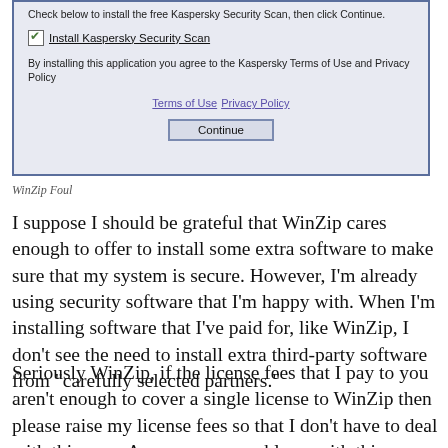[Figure (screenshot): Dialog box for Kaspersky Security Scan installation with checkbox, terms of use and privacy policy links, and Continue button]
WinZip Foul
I suppose I should be grateful that WinZip cares enough to offer to install some extra software to make sure that my system is secure.  However, I'm already using security software that I'm happy with.  When I'm installing software that I've paid for, like WinZip, I don't see the need to install extra third-party software from “carefully selected partners.”
Seriously WinZip, if the license fees that I pay to you aren’t enough to cover a single license to WinZip then please raise my license fees so that I don’t have to deal with this crap.  Among many problems with this approach:  Your preferred